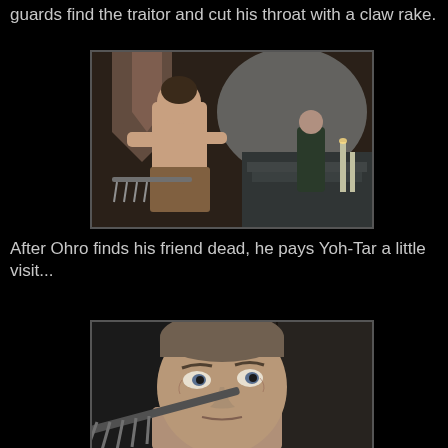guards find the traitor and cut his throat with a claw rake.
[Figure (photo): Scene from a film showing a shirtless man from behind holding a claw rake-like weapon, facing a robed figure standing on steps in a dramatic interior setting.]
After Ohro finds his friend dead, he pays Yoh-Tar a little visit...
[Figure (photo): Close-up of a man's face looking intensely at the camera, holding a claw rake weapon near his face. Black and white toned image.]